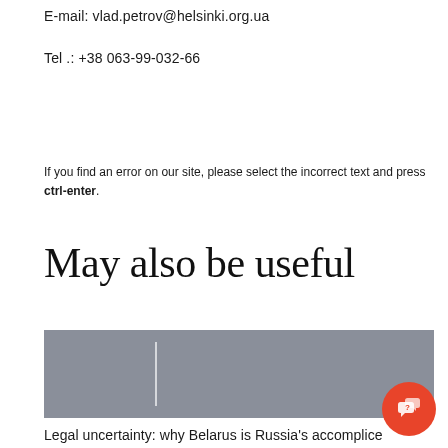E-mail: vlad.petrov@helsinki.org.ua
Tel .: +38 063-99-032-66
If you find an error on our site, please select the incorrect text and press ctrl-enter.
May also be useful
[Figure (photo): Grey image placeholder with a white vertical divider line, and a red circular chat/help icon in the bottom right corner]
Legal uncertainty: why Belarus is Russia's accomplice